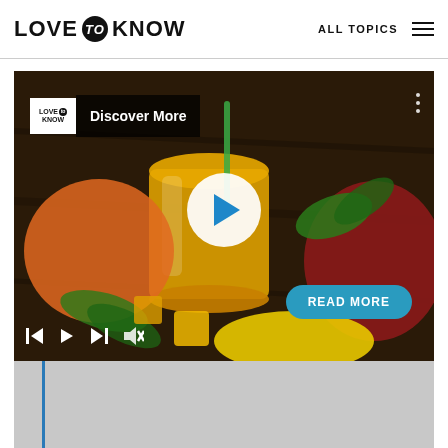LOVE to KNOW | ALL TOPICS
[Figure (screenshot): LoveToKnow website screenshot showing a video player with a mango juice/smoothie image. Video shows 'Discover More' label overlay, a white play button in center, media controls (skip back, play, skip forward, mute) at bottom left, a 'READ MORE' teal button at bottom right, and a progress bar area below the video frame.]